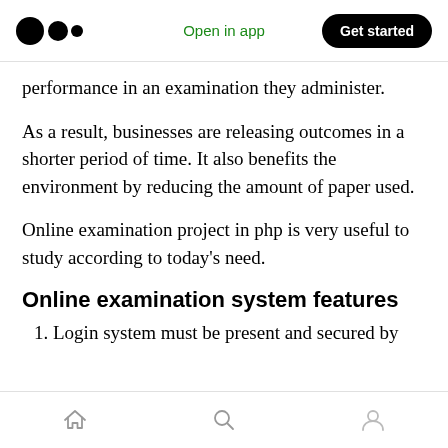Open in app | Get started
performance in an examination they administer.
As a result, businesses are releasing outcomes in a shorter period of time. It also benefits the environment by reducing the amount of paper used.
Online examination project in php is very useful to study according to today’s need.
Online examination system features
1. Login system must be present and secured by
Home | Search | Profile